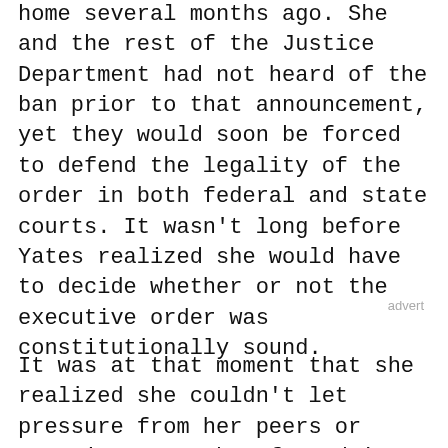home several months ago. She and the rest of the Justice Department had not heard of the ban prior to that announcement, yet they would soon be forced to defend the legality of the order in both federal and state courts. It wasn't long before Yates realized she would have to decide whether or not the executive order was constitutionally sound.
advert
It was at that moment that she realized she couldn't let pressure from her peers or superiors stop her from doing what was right. Her conscience intersected with the law as she was meant to interpret it, and the executive order